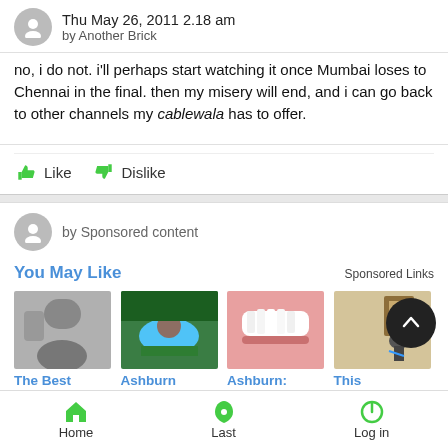Thu May 26, 2011 2.18 am
by Another Brick
no, i do not. i'll perhaps start watching it once Mumbai loses to Chennai in the final. then my misery will end, and i can go back to other channels my cablewala has to offer.
Like   Dislike
by Sponsored content
You May Like   Sponsored Links
[Figure (screenshot): Four thumbnail images: black and white photo of person, aerial resort pool, close-up of teeth, security camera on wall]
The Best
Luxury...
Ashburn Rehab...
Ashburn: Dental...
This Lightbulb...
Home   Last   Log in